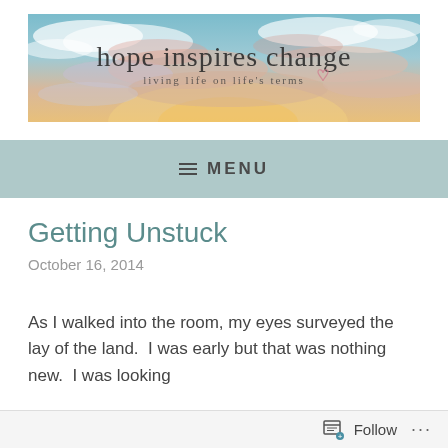[Figure (photo): Blog banner image showing a sunset sky with clouds in blue, pink, and orange tones. Text overlay reads 'hope inspires change' in cursive script and 'living life on life's terms' in smaller text with a small heart icon.]
≡ MENU
Getting Unstuck
October 16, 2014
As I walked into the room, my eyes surveyed the lay of the land.  I was early but that was nothing new.  I was looking
Follow